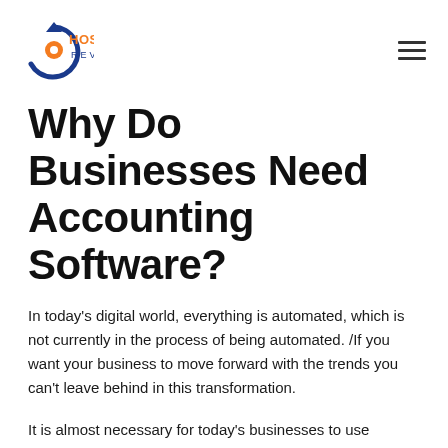HOSTING REVIEW
Why Do Businesses Need Accounting Software?
In today's digital world, everything is automated, which is not currently in the process of being automated. /If you want your business to move forward with the trends you can't leave behind in this transformation.
It is almost necessary for today's businesses to use accounting software instead of keeping on-paper or spreadsheet finances that are always at risk of loss, theft, or